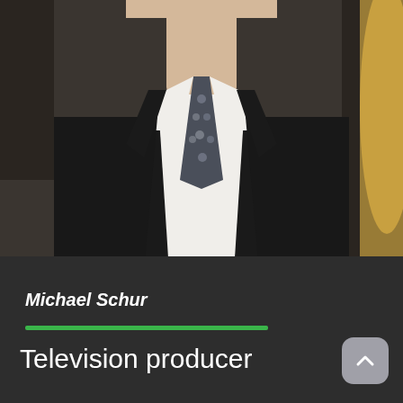[Figure (photo): Photo of Michael Schur, man in black suit with white shirt and dark patterned tie, cropped from neck/chest up, partial view of blonde-haired person on the right edge]
Michael Schur
Television producer